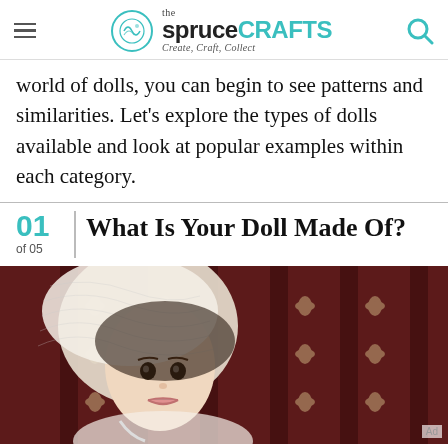the spruce CRAFTS — Create, Craft, Collect
world of dolls, you can begin to see patterns and similarities. Let's explore the types of dolls available and look at popular examples within each category.
01 of 05 | What Is Your Doll Made Of?
[Figure (photo): A porcelain antique doll wearing a white lace bonnet, photographed against a dark red damask-patterned fabric background.]